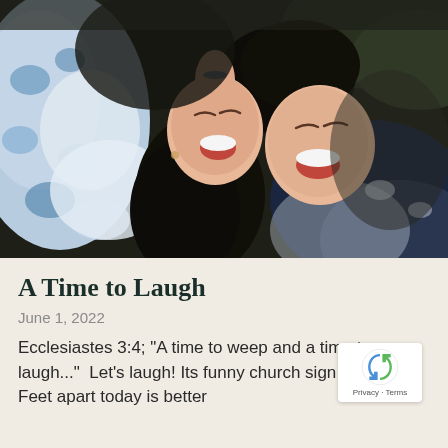[Figure (photo): Two young women lying on their backs laughing together, heads close, viewed from above. One wears a blue floral dress, the other a dark navy outfit. Green grass in background.]
A Time to Laugh
June 1, 2022
Ecclesiastes 3:4; "A time to weep and a time to laugh..."  Let's laugh! Its funny church sign time! *6 Feet apart today is better